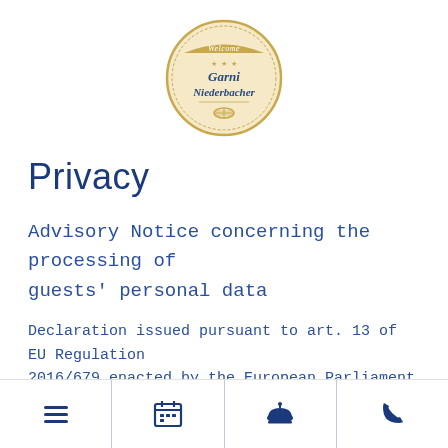[Figure (logo): Circular badge logo for Garni Niederbacher hotel with 'Welcome' text at top, three stars, decorative border, and a barrel/cask icon at bottom on a beige/gold background]
Privacy
Advisory Notice concerning the processing of guests' personal data
Declaration issued pursuant to art. 13 of EU Regulation 2016/679 enacted by the European Parliament and by the Council on 27 April, 2016 relative to the protection of
[menu icon] [calendar icon] [room service icon] [phone icon]